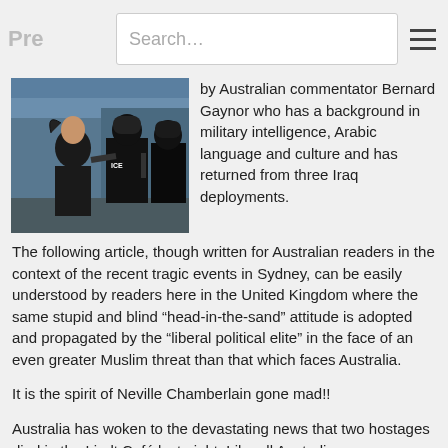Pre... Search...
[Figure (photo): Photo of a woman in dark clothing being escorted by armed tactical police officers in black gear and helmets, in an urban setting.]
by Australian commentator Bernard Gaynor who has a background in military intelligence, Arabic language and culture and has returned from three Iraq deployments.
The following article, though written for Australian readers in the context of the recent tragic events in Sydney, can be easily understood by readers here in the United Kingdom where the same stupid and blind “head-in-the-sand” attitude is adopted and propagated by the “liberal political elite” in the face of an even greater Muslim threat than that which faces Australia.
It is the spirit of Neville Chamberlain gone mad!!
Australia has woken to the devastating news that two hostages died in the Lindt Café last night. Like all Australians, my thoughts and prayers are with the families of those now grieving. Read more